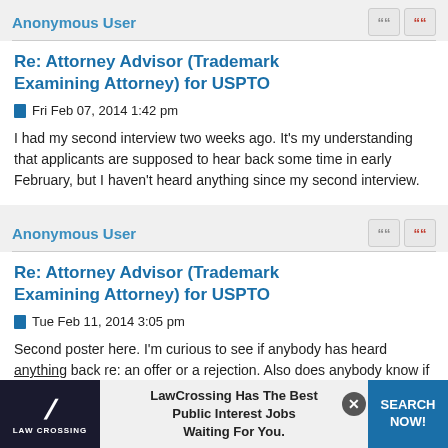Anonymous User
Re: Attorney Advisor (Trademark Examining Attorney) for USPTO
Fri Feb 07, 2014 1:42 pm
I had my second interview two weeks ago. It's my understanding that applicants are supposed to hear back some time in early February, but I haven't heard anything since my second interview.
Anonymous User
Re: Attorney Advisor (Trademark Examining Attorney) for USPTO
Tue Feb 11, 2014 3:05 pm
Second poster here. I'm curious to see if anybody has heard anything back re: an offer or a rejection. Also does anybody know if the salary/pay system for USPTO attorneys is sup
[Figure (screenshot): LawCrossing advertisement bar at bottom: logo with slash icon, text 'LawCrossing Has The Best Public Interest Jobs Waiting For You.', blue SEARCH NOW! button, close X button]